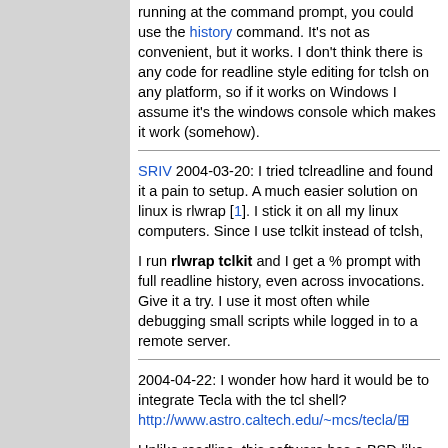running at the command prompt, you could use the history command. It's not as convenient, but it works. I don't think there is any code for readline style editing for tclsh on any platform, so if it works on Windows I assume it's the windows console which makes it work (somehow).
SRIV 2004-03-20: I tried tclreadline and found it a pain to setup. A much easier solution on linux is rlwrap [1]. I stick it on all my linux computers. Since I use tclkit instead of tclsh,
I run rlwrap tclkit and I get a % prompt with full readline history, even across invocations. Give it a try. I use it most often while debugging small scripts while logged in to a remote server.
2004-04-22: I wonder how hard it would be to integrate Tecla with the tcl shell? http://www.astro.caltech.edu/~mcs/tecla/
Unlike readline, this software has a BSD-like license. It'd be nice to have this available across all tcl platforms without having to use special wrappers and workarounds - a